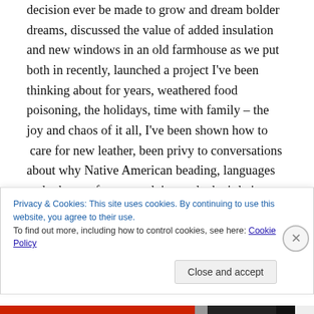decision ever be made to grow and dream bolder dreams, discussed the value of added insulation and new windows in an old farmhouse as we put both in recently, launched a project I've been thinking about for years, weathered food poisoning, the holidays, time with family – the joy and chaos of it all, I've been shown how to  care for new leather, been privy to conversations about why Native American beading, languages and other art forms are dying and what's being done to turn the trend around, seen firsthand the value of stopping in for a visit with an
Privacy & Cookies: This site uses cookies. By continuing to use this website, you agree to their use.
To find out more, including how to control cookies, see here: Cookie Policy
Close and accept